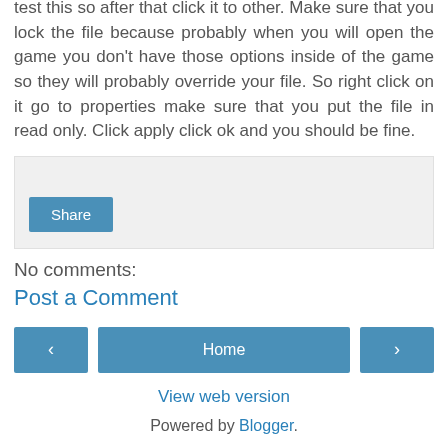test this so after that click it to other. Make sure that you lock the file because probably when you will open the game you don't have those options inside of the game so they will probably override your file. So right click on it go to properties make sure that you put the file in read only. Click apply click ok and you should be fine.
[Figure (screenshot): Gray share box with a blue Share button]
No comments:
Post a Comment
[Figure (screenshot): Navigation bar with left arrow, Home button, and right arrow, plus View web version link and Powered by Blogger footer]